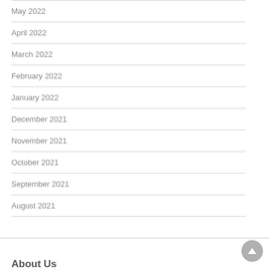May 2022
April 2022
March 2022
February 2022
January 2022
December 2021
November 2021
October 2021
September 2021
August 2021
About Us